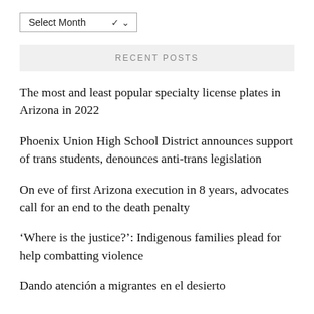Select Month
RECENT POSTS
The most and least popular specialty license plates in Arizona in 2022
Phoenix Union High School District announces support of trans students, denounces anti-trans legislation
On eve of first Arizona execution in 8 years, advocates call for an end to the death penalty
‘Where is the justice?’: Indigenous families plead for help combatting violence
Dando atención a migrantes en el desierto